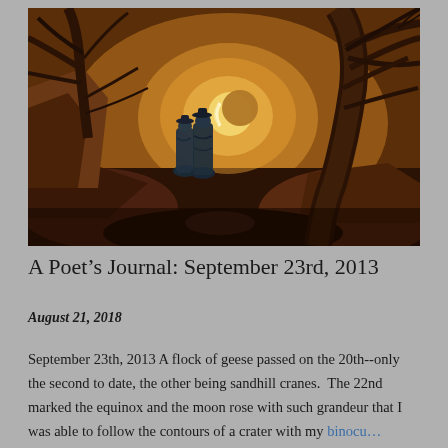[Figure (illustration): Romantic painting showing two figures in dark coats standing among rocky terrain with bare twisted trees, gazing at a crescent moon glowing in a warm amber/ochre night sky. Painting in the style of Caspar David Friedrich.]
A Poet's Journal: September 23rd, 2013
August 21, 2018
September 23th, 2013 A flock of geese passed on the 20th--only the second to date, the other being sandhill cranes.  The 22nd marked the equinox and the moon rose with such grandeur that I was able to follow the contours of a crater with my binocu…